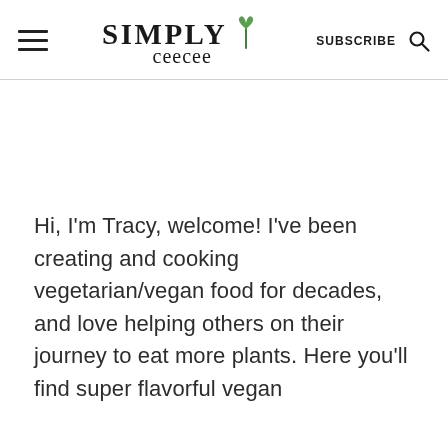Simply CeeCee — SUBSCRIBE
Hi, I'm Tracy, welcome! I've been creating and cooking vegetarian/vegan food for decades, and love helping others on their journey to eat more plants. Here you'll find super flavorful vegan